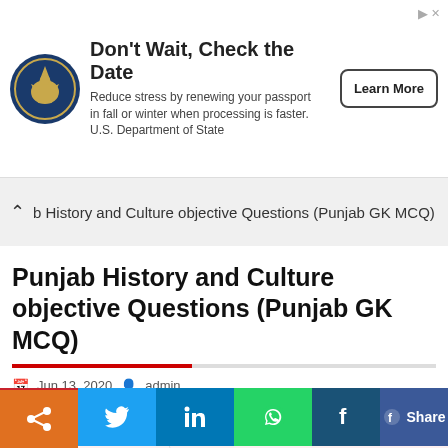[Figure (other): U.S. Department of State passport renewal advertisement banner with eagle seal logo and Learn More button]
b History and Culture objective Questions (Punjab GK MCQ)
Punjab History and Culture objective Questions (Punjab GK MCQ)
Jun 13, 2020   admin
[Figure (other): Hero banner with floral background and red italic text reading PUNJAB HISTORY AND CULTURE]
[Figure (other): Social media sharing bar with Pinterest, Twitter, LinkedIn, WhatsApp, Facebook buttons and Facebook Share button]